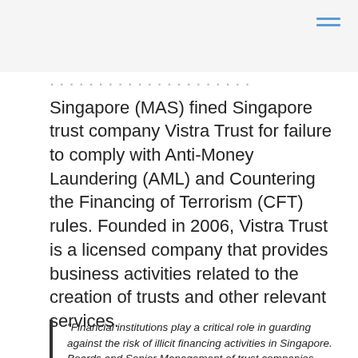Singapore (MAS) fined Singapore trust company Vistra Trust for failure to comply with Anti-Money Laundering (AML) and Countering the Financing of Terrorism (CFT) rules. Founded in 2006, Vistra Trust is a licensed company that provides business activities related to the creation of trusts and other relevant services.
“Financial institutions play a critical role in guarding against the risk of illicit financing activities in Singapore. Boards and Senior Management of trust companies must ensure that higher risk trust accounts are identified and subject to robust AML and CFT controls. MAS will take strong actions against any financial institution that fails to meet our regulatory standards for anti-money laundering.”